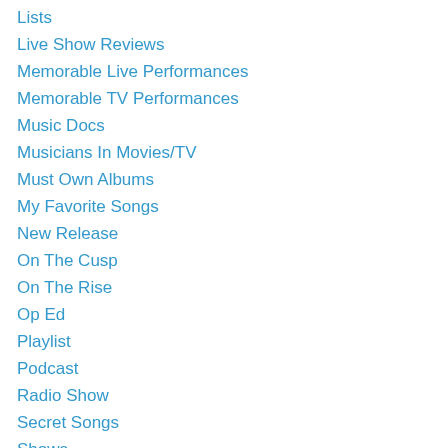Lists
Live Show Reviews
Memorable Live Performances
Memorable TV Performances
Music Docs
Musicians In Movies/TV
Must Own Albums
My Favorite Songs
New Release
On The Cusp
On The Rise
Op Ed
Playlist
Podcast
Radio Show
Secret Songs
Shows
Side Project Spotlight
Solo Album Spotlight
Song Battle